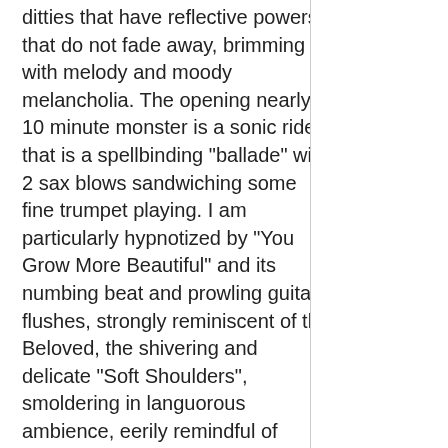ditties that have reflective powers that do not fade away, brimming with melody and moody melancholia. The opening nearly 10 minute monster is a sonic ride that is a spellbinding "ballade" with 2 sax blows sandwiching some fine trumpet playing. I am particularly hypnotized by "You Grow More Beautiful" and its numbing beat and prowling guitar flushes, strongly reminiscent of the Beloved, the shivering and delicate "Soft Shoulders", smoldering in languorous ambience, eerily remindful of future Porcupine Tree ballads and the terrific "Things Change" where flurried guitar washes and furry rhythms abound, slashed by a phosphorescent Frippian axe missile that blazes and fizzes uncontrollably. Slow burning exaltations of a man spurned , in a sea of sadness and pain ("You are leaving me behind" and a "Things Change" retort), dense whirlwinds of atmosphere, dreamy almost soporific piano, dirge-like effects and a simple drumbeat , loaded with